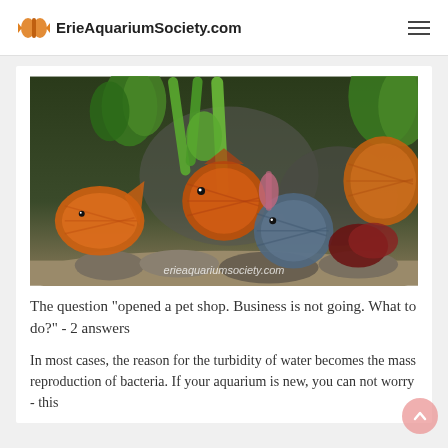ErieAquariumSociety.com
[Figure (photo): Aquarium with colorful discus fish (orange, red, blue) swimming among green aquatic plants, rocks, and substrate. Watermark reads 'erieaquariumsociety.com'.]
The question "opened a pet shop. Business is not going. What to do?" - 2 answers
In most cases, the reason for the turbidity of water becomes the mass reproduction of bacteria. If your aquarium is new, you can not worry - this